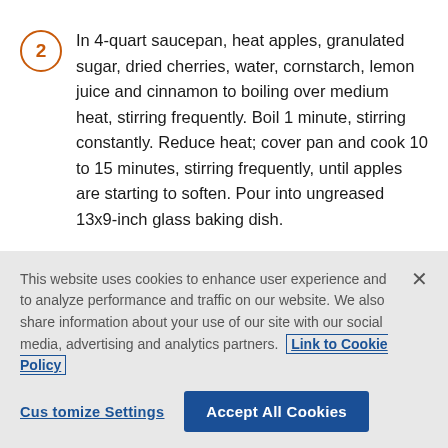2 In 4-quart saucepan, heat apples, granulated sugar, dried cherries, water, cornstarch, lemon juice and cinnamon to boiling over medium heat, stirring frequently. Boil 1 minute, stirring constantly. Reduce heat; cover pan and cook 10 to 15 minutes, stirring frequently, until apples are starting to soften. Pour into ungreased 13x9-inch glass baking dish.
3 Meanwhile, separate dough into 10 biscuits. Cut each biscuit into quarters. In large bowl, toss biscuits with
This website uses cookies to enhance user experience and to analyze performance and traffic on our website. We also share information about your use of our site with our social media, advertising and analytics partners. Link to Cookie Policy
Customize Settings   Accept All Cookies